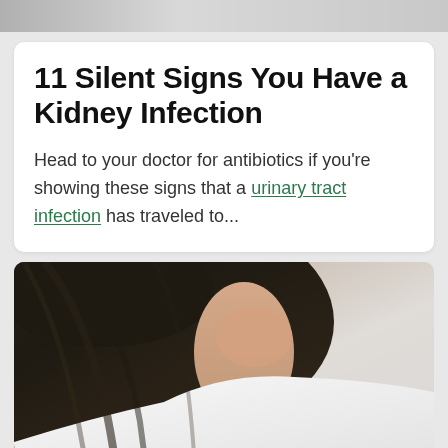[Figure (photo): Top portion of a photo, cropped at the top of the page, showing a light gray/neutral background.]
11 Silent Signs You Have a Kidney Infection
Head to your doctor for antibiotics if you're showing these signs that a urinary tract infection has traveled to...
[Figure (photo): Photo of a woman with long dark hair wearing a white t-shirt, cropped to show her head and upper body.]
ADVERTISEMENT